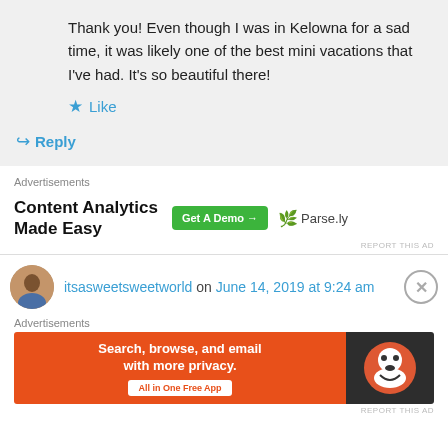Thank you! Even though I was in Kelowna for a sad time, it was likely one of the best mini vacations that I've had. It's so beautiful there!
Like
Reply
Advertisements
[Figure (other): Parse.ly advertisement: Content Analytics Made Easy with Get A Demo button and Parse.ly logo]
REPORT THIS AD
itsasweetsweetworld on June 14, 2019 at 9:24 am
Advertisements
[Figure (other): DuckDuckGo advertisement: Search, browse, and email with more privacy. All in One Free App]